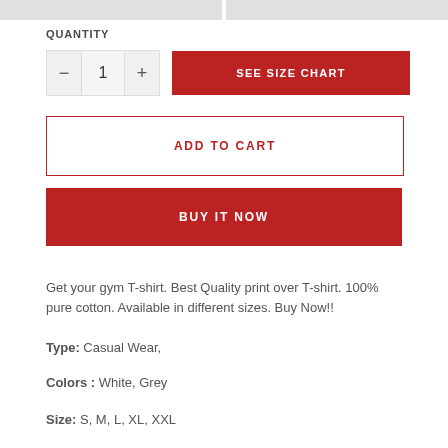QUANTITY
SEE SIZE CHART
ADD TO CART
BUY IT NOW
Get your gym T-shirt. Best Quality print over T-shirt. 100% pure cotton. Available in different sizes. Buy Now!!
Type: Casual Wear,
Colors : White, Grey
Size: S, M, L, XL, XXL